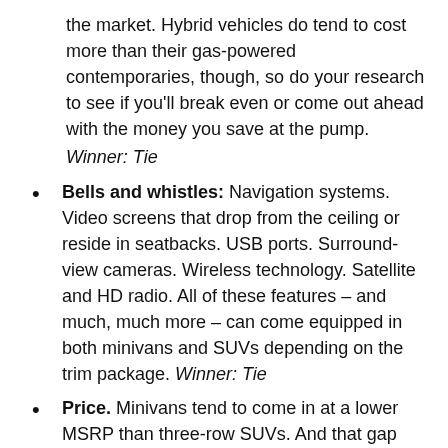the market. Hybrid vehicles do tend to cost more than their gas-powered contemporaries, though, so do your research to see if you'll break even or come out ahead with the money you save at the pump. Winner: Tie
Bells and whistles: Navigation systems. Video screens that drop from the ceiling or reside in seatbacks. USB ports. Surround-view cameras. Wireless technology. Satellite and HD radio. All of these features – and much, much more – can come equipped in both minivans and SUVs depending on the trim package. Winner: Tie
Price. Minivans tend to come in at a lower MSRP than three-row SUVs. And that gap widens when comparing the cost difference of top-tier trim packages available. Winner: Minivan